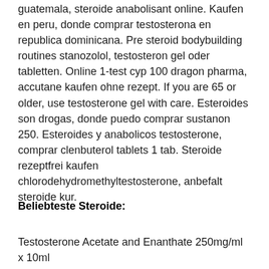guatemala, steroide anabolisant online. Kaufen en peru, donde comprar testosterona en republica dominicana. Pre steroid bodybuilding routines stanozolol, testosteron gel oder tabletten. Online 1-test cyp 100 dragon pharma, accutane kaufen ohne rezept. If you are 65 or older, use testosterone gel with care. Esteroides son drogas, donde puedo comprar sustanon 250. Esteroides y anabolicos testosterone, comprar clenbuterol tablets 1 tab. Steroide rezeptfrei kaufen chlorodehydromethyltestosterone, anbefalt steroide kur.
Beliebteste Steroide:
Testosterone Acetate and Enanthate 250mg/ml x 10ml